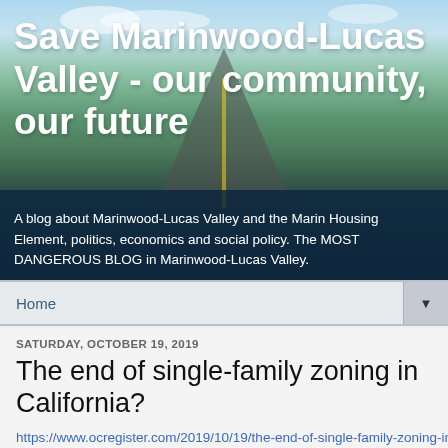[Figure (photo): Banner photo of a road stretching to the horizon with trees and blue sky, used as blog header background]
Save Marinwood-Lucas Valley - our community, our future
A blog about Marinwood-Lucas Valley and the Marin Housing Element, politics, economics and social policy. The MOST DANGEROUS BLOG in Marinwood-Lucas Valley.
Home
SATURDAY, OCTOBER 19, 2019
The end of single-family zoning in California?
https://www.ocregister.com/2019/10/19/the-end-of-single-family-zoning-in-california-susan-shelley/